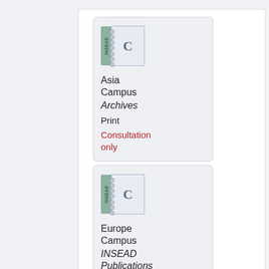[Figure (illustration): INSEAD notebook/case study icon with letter C on cover, used for Asia Campus Archives entry]
Asia Campus Archives
Print
Consultation only
[Figure (illustration): INSEAD notebook/case study icon with letter C on cover, used for Europe Campus INSEAD Publications Display entry]
Europe Campus INSEAD Publications Display
Print
Consultation only